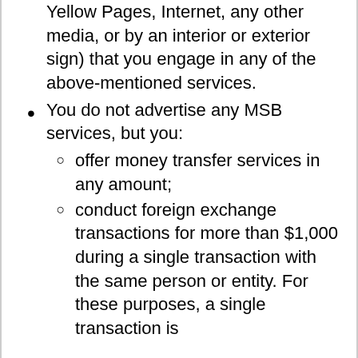Yellow Pages, Internet, any other media, or by an interior or exterior sign) that you engage in any of the above-mentioned services.
You do not advertise any MSB services, but you:
offer money transfer services in any amount;
conduct foreign exchange transactions for more than $1,000 during a single transaction with the same person or entity. For these purposes, a single transaction is